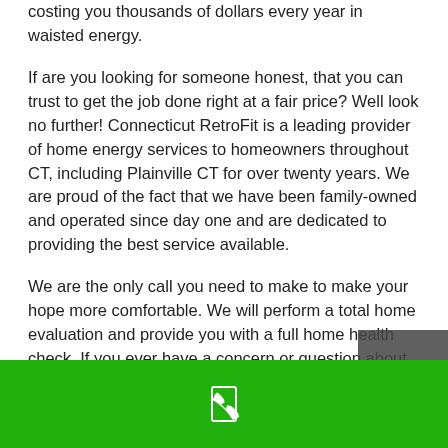costing you thousands of dollars every year in waisted energy.
If are you looking for someone honest, that you can trust to get the job done right at a fair price? Well look no further! Connecticut RetroFit is a leading provider of home energy services to homeowners throughout CT, including Plainville CT for over twenty years. We are proud of the fact that we have been family-owned and operated since day one and are dedicated to providing the best service available.
We are the only call you need to make to make your hope more comfortable. We will perform a total home evaluation and provide you with a full home health check. If you ever have a concern or question about your home’s efficiencies or if you are considering adding a ductless heat pump, insulation in the attic, or looking to cool off with a ductless